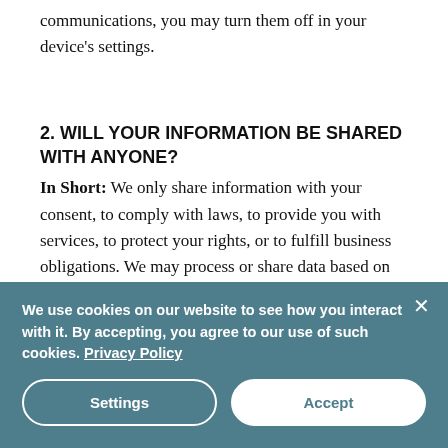communications, you may turn them off in your device's settings.
2. WILL YOUR INFORMATION BE SHARED WITH ANYONE?
In Short:  We only share information with your consent, to comply with laws, to provide you with services, to protect your rights, or to fulfill business obligations. We may process or share data based on the following legal basis:
Consent: We may process your data if you have given us specific consent to
We use cookies on our website to see how you interact with it. By accepting, you agree to our use of such cookies. Privacy Policy
Settings
Accept